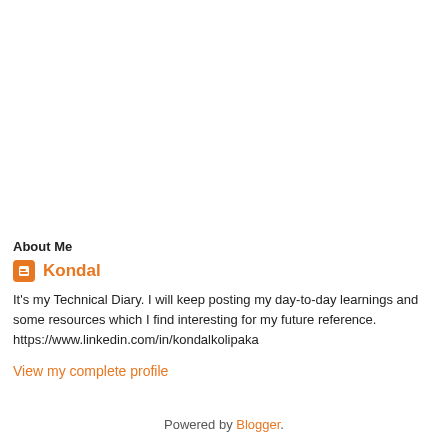About Me
Kondal
It's my Technical Diary. I will keep posting my day-to-day learnings and some resources which I find interesting for my future reference. https://www.linkedin.com/in/kondalkolipaka
View my complete profile
Powered by Blogger.